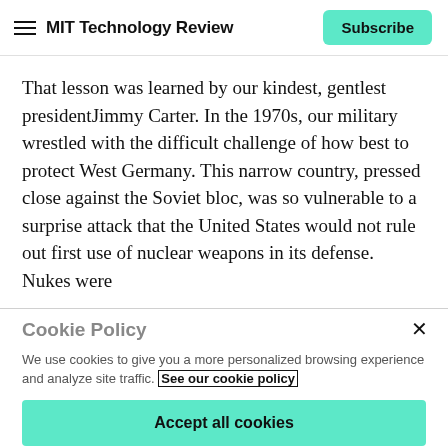MIT Technology Review | Subscribe
That lesson was learned by our kindest, gentlest presidentJimmy Carter. In the 1970s, our military wrestled with the difficult challenge of how best to protect West Germany. This narrow country, pressed close against the Soviet bloc, was so vulnerable to a surprise attack that the United States would not rule out first use of nuclear weapons in its defense. Nukes were
Cookie Policy
We use cookies to give you a more personalized browsing experience and analyze site traffic. See our cookie policy
Accept all cookies
Cookies settings